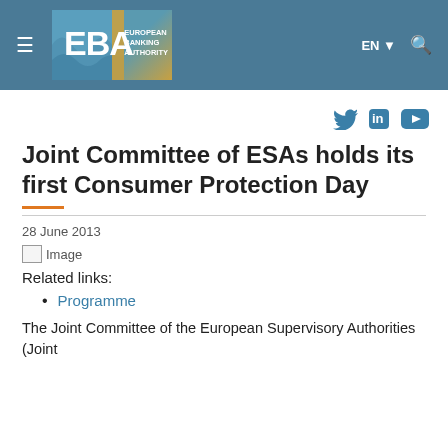[Figure (logo): EBA European Banking Authority logo on teal/slate blue header with hamburger menu, EN language selector and search icon]
[Figure (logo): Social media icons: Twitter, LinkedIn, YouTube in blue]
Joint Committee of ESAs holds its first Consumer Protection Day
28 June 2013
[Figure (photo): Broken/missing image placeholder]
Related links:
Programme
The Joint Committee of the European Supervisory Authorities (Joint